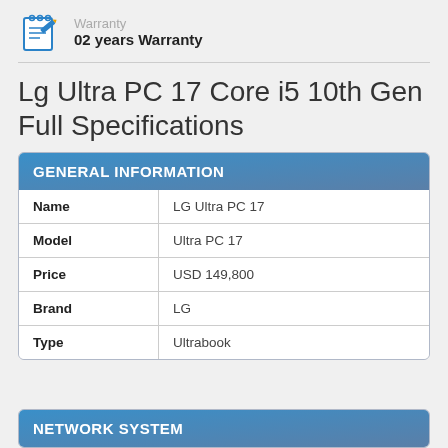[Figure (illustration): Warranty icon: a notepad with pencil in blue]
Warranty
02 years Warranty
Lg Ultra PC 17 Core i5 10th Gen Full Specifications
GENERAL INFORMATION
| Name | LG Ultra PC 17 |
| Model | Ultra PC 17 |
| Price | USD 149,800 |
| Brand | LG |
| Type | Ultrabook |
NETWORK SYSTEM